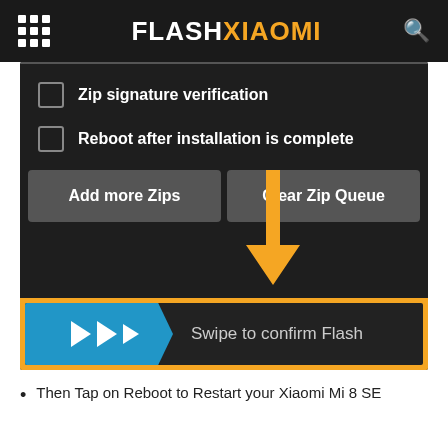FLASHXIAOMI
[Figure (screenshot): Android recovery screen showing checkboxes for 'Zip signature verification' and 'Reboot after installation is complete', two buttons 'Add more Zips' and 'Clear Zip Queue', and a swipe slider 'Swipe to confirm Flash' highlighted with an orange border and an orange arrow pointing down to it.]
Then Tap on Reboot to Restart your Xiaomi Mi 8 SE